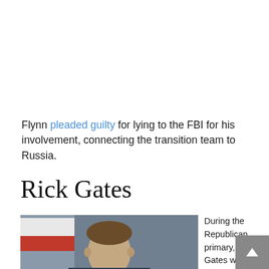Flynn pleaded guilty for lying to the FBI for his involvement, connecting the transition team to Russia.
Rick Gates
[Figure (photo): Photo of Rick Gates, a man in front of what appears to be a flag with red and white colors, viewed from slightly below]
During the Republican primary, Rick Gates was